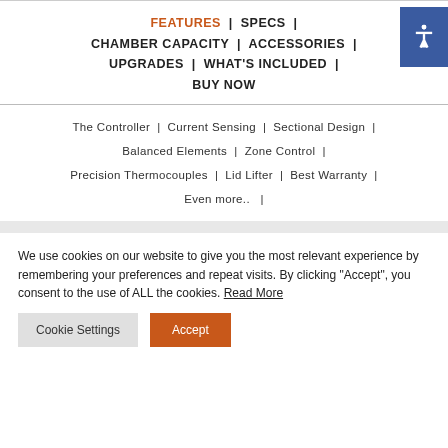FEATURES | SPECS | CHAMBER CAPACITY | ACCESSORIES | UPGRADES | WHAT'S INCLUDED | BUY NOW
The Controller | Current Sensing | Sectional Design | Balanced Elements | Zone Control | Precision Thermocouples | Lid Lifter | Best Warranty | Even more.. |
We use cookies on our website to give you the most relevant experience by remembering your preferences and repeat visits. By clicking “Accept”, you consent to the use of ALL the cookies. Read More